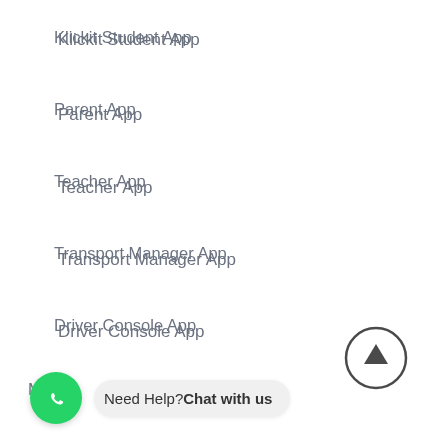Klickit Student App
Parent App
Teacher App
Transport Manager App
Driver Console App
Media
Blog
Portfolio Gallery
Videos Demos
Contact us
Need Help? Chat with us